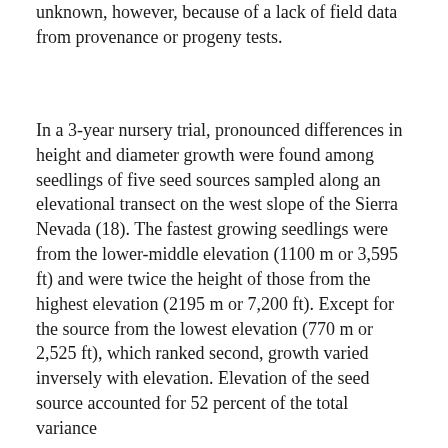unknown, however, because of a lack of field data from provenance or progeny tests.
In a 3-year nursery trial, pronounced differences in height and diameter growth were found among seedlings of five seed sources sampled along an elevational transect on the west slope of the Sierra Nevada (18). The fastest growing seedlings were from the lower-middle elevation (1100 m or 3,595 ft) and were twice the height of those from the highest elevation (2195 m or 7,200 ft). Except for the source from the lowest elevation (770 m or 2,525 ft), which ranked second, growth varied inversely with elevation. Elevation of the seed source accounted for 52 percent of the total variance